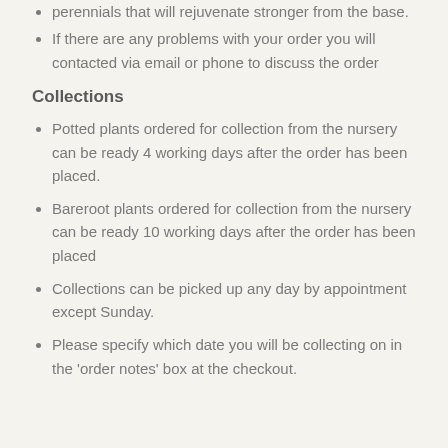perennials that will rejuvenate stronger from the base.
If there are any problems with your order you will contacted via email or phone to discuss the order
Collections
Potted plants ordered for collection from the nursery can be ready 4 working days after the order has been placed.
Bareroot plants ordered for collection from the nursery can be ready 10 working days after the order has been placed
Collections can be picked up any day by appointment except Sunday.
Please specify which date you will be collecting on in the 'order notes' box at the checkout.